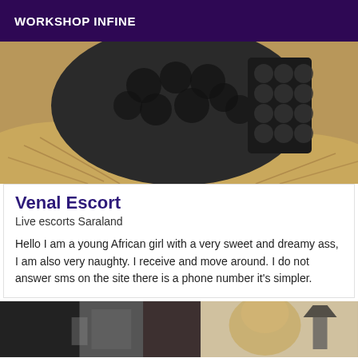WORKSHOP INFINE
[Figure (photo): Close-up photo of a person wearing a lace top and a straw hat, viewed from above.]
Venal Escort
Live escorts Saraland
Hello I am a young African girl with a very sweet and dreamy ass, I am also very naughty. I receive and move around. I do not answer sms on the site there is a phone number it's simpler.
[Figure (photo): Two partial photos at the bottom: left shows a dark interior scene, right shows a person with blonde hair near a lamp.]